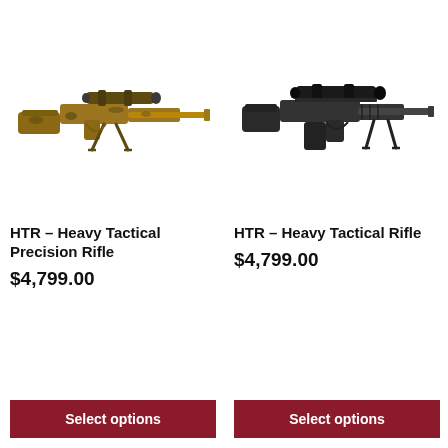[Figure (photo): Camo-patterned bolt-action precision rifle with bipod and scope, HTR Heavy Tactical Precision Rifle]
[Figure (photo): Black bolt-action tactical rifle with scope and bipod, HTR Heavy Tactical Rifle]
HTR – Heavy Tactical Precision Rifle
$4,799.00
Select options
HTR – Heavy Tactical Rifle
$4,799.00
Select options